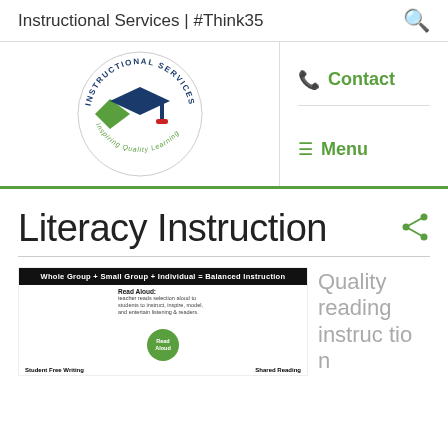Instructional Services | #Think35
[Figure (logo): Instructional Services logo — circular badge with graduation cap and chevron shapes, text 'INSTRUCTIONAL SERVICES' around top arc and 'Inspiring Quality Learning' around bottom arc]
Contact
Menu
Literacy Instruction
[Figure (infographic): Balanced literacy instruction diagram showing 'Whole Group + Small Group + Individual = Balanced Instruction' header bar, with Read Aloud section and Student Free Writing and Shared Reading labels]
Quality reading instruc tio n